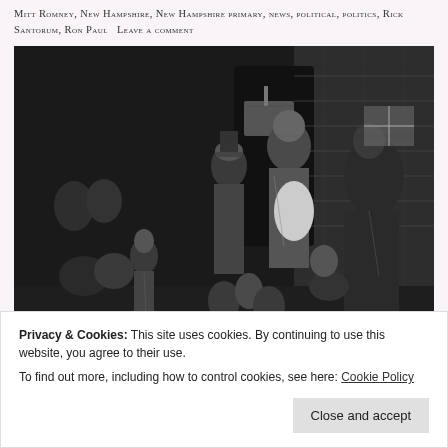Mitt Romney, New Hampshire, New Hampshire primary, news, political, politics, Rick Santorum, Ron Paul   Leave a comment
[Figure (illustration): A black and white engraving depicting a crowded Victorian-era street scene with many figures including men, women and children in poverty-stricken conditions, gathered in an alleyway or courtyard with brick buildings.]
Privacy & Cookies: This site uses cookies. By continuing to use this website, you agree to their use.
To find out more, including how to control cookies, see here: Cookie Policy